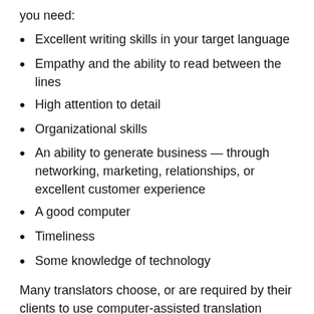you need:
Excellent writing skills in your target language
Empathy and the ability to read between the lines
High attention to detail
Organizational skills
An ability to generate business — through networking, marketing, relationships, or excellent customer experience
A good computer
Timeliness
Some knowledge of technology
Many translators choose, or are required by their clients to use computer-assisted translation (CAT)